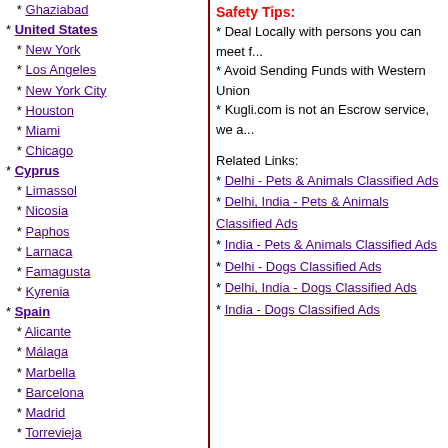* Ghaziabad
* United States
* New York
* Los Angeles
* New York City
* Houston
* Miami
* Chicago
* Cyprus
* Limassol
* Nicosia
* Paphos
* Larnaca
* Famagusta
* Kyrenia
* Spain
* Alicante
* Málaga
* Marbella
* Barcelona
* Madrid
* Torrevieja
* Philippines
* Makati City
* Pasig City
* Cebu City
* Quezon City
* Taguig City
* Mandaluyong City
* Greece
Safety Tips:
* Deal Locally with persons you can meet f...
* Avoid Sending Funds with Western Union...
* Kugli.com is not an Escrow service, we a...
Related Links:
* Delhi - Pets & Animals Classified Ads
* Delhi, India - Pets & Animals Classified Ads
* India - Pets & Animals Classified Ads
* Delhi - Dogs Classified Ads
* Delhi, India - Dogs Classified Ads
* India - Dogs Classified Ads